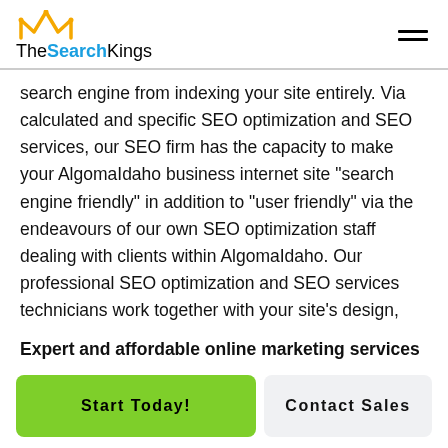TheSearchKings
search engine from indexing your site entirely. Via calculated and specific SEO optimization and SEO services, our SEO firm has the capacity to make your AlgomaIdaho business internet site “search engine friendly” in addition to “user friendly” via the endeavours of our own SEO optimization staff dealing with clients within AlgomaIdaho. Our professional SEO optimization and SEO services technicians work together with your site’s design,
Expert and affordable online marketing services
Start Today!
Contact Sales